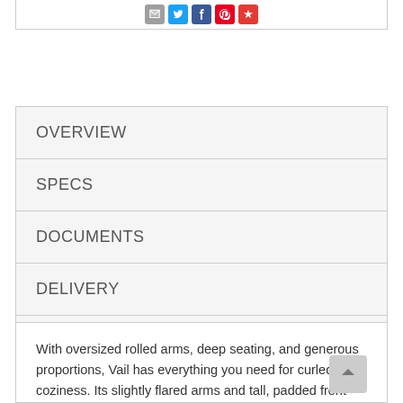[Figure (screenshot): Social share icons: email (grey), twitter (blue), facebook (blue), pinterest (red), and another red icon]
OVERVIEW
SPECS
DOCUMENTS
DELIVERY
WARRANTY
With oversized rolled arms, deep seating, and generous proportions, Vail has everything you need for curled-up coziness. Its slightly flared arms and tall, padded front rail paired with plush